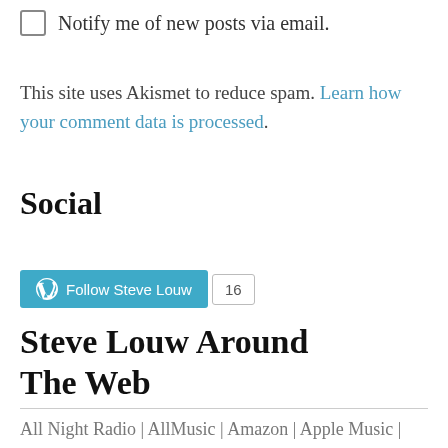Notify me of new posts via email.
This site uses Akismet to reduce spam. Learn how your comment data is processed.
Social
[Figure (other): WordPress Follow Steve Louw button with follower count of 16]
Steve Louw Around The Web
All Night Radio | AllMusic | Amazon | Apple Music | Big link | Boomers | Diopter | Facebook